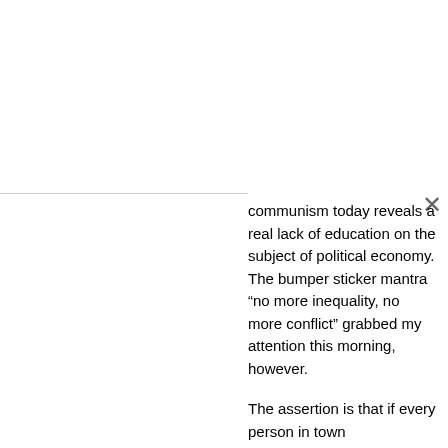communism today reveals a real lack of education on the subject of political economy. The bumper sticker mantra “no more inequality, no more conflict” grabbed my attention this morning, however.
The assertion is that if every person in town